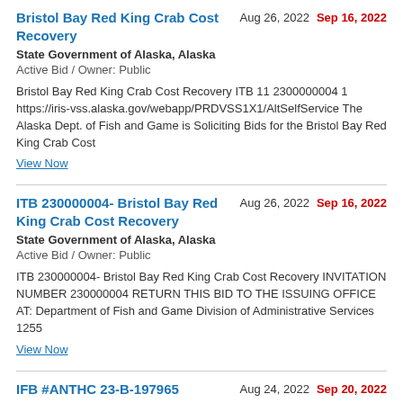Bristol Bay Red King Crab Cost Recovery
Aug 26, 2022   Sep 16, 2022
State Government of Alaska, Alaska
Active Bid / Owner: Public
Bristol Bay Red King Crab Cost Recovery ITB 11 2300000004 1 https://iris-vss.alaska.gov/webapp/PRDVSS1X1/AltSelfService The Alaska Dept. of Fish and Game is Soliciting Bids for the Bristol Bay Red King Crab Cost
View Now
ITB 230000004- Bristol Bay Red King Crab Cost Recovery
Aug 26, 2022   Sep 16, 2022
State Government of Alaska, Alaska
Active Bid / Owner: Public
ITB 230000004- Bristol Bay Red King Crab Cost Recovery INVITATION NUMBER 230000004 RETURN THIS BID TO THE ISSUING OFFICE AT: Department of Fish and Game Division of Administrative Services 1255
View Now
IFB #ANTHC 23-B-197965
Aug 24, 2022   Sep 20, 2022